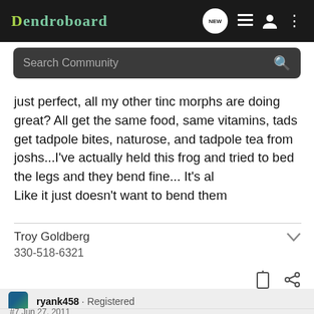Dendroboard
Search Community
just perfect, all my other tinc morphs are doing great? All get the same food, same vitamins, tads get tadpole bites, naturose, and tadpole tea from joshs...I've actually held this frog and tried to bed the legs and they bend fine... It's al
Like it just doesn't want to bend them
Troy Goldberg
330-518-6321
ryank458 · Registered
Joined Aug 4, 2010 · 49 Posts
#7  Jun 27, 2011